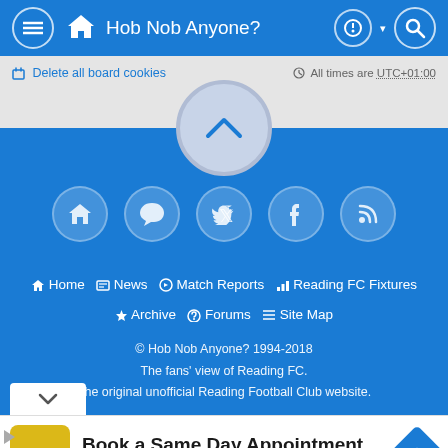Hob Nob Anyone?
Delete all board cookies   All times are UTC+01:00
[Figure (screenshot): Scroll-up button (chevron up icon in a circle) and social media icon buttons (home, chat/comment, Twitter, Facebook, RSS) on blue background]
Home  News  Match Reports  Reading FC Fixtures  Archive  Forums  Site Map
© Hob Nob Anyone? 1994-2018
The fans' view of Reading FC.
The original unofficial Reading Football Club website.
[Figure (screenshot): Advertisement: Book a Same Day Appointment - Hair Cuttery]